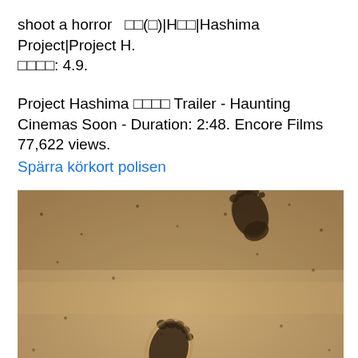shoot a horror  □□(□)|H□□|Hashima Project|Project H. □□□□: 4.9.
Project Hashima □□□□ Trailer - Haunting Cinemas Soon - Duration: 2:48. Encore Films 77,622 views.
Spärra körkort polisen
[Figure (photo): Close-up photograph of footprints in sand. Shows two footprints visible - one near the top center of the image and one at the bottom center. The sand has a warm brownish-tan color with small dark specks throughout.]